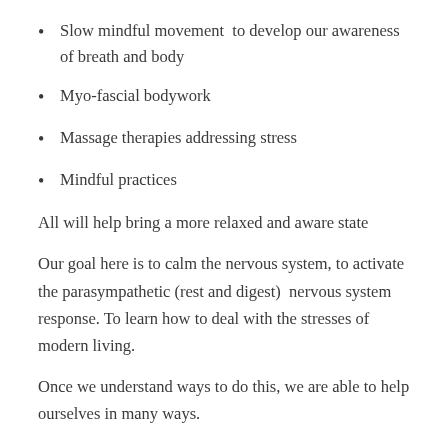Slow mindful movement  to develop our awareness of breath and body
Myo-fascial bodywork
Massage therapies addressing stress
Mindful practices
All will help bring a more relaxed and aware state
Our goal here is to calm the nervous system, to activate the parasympathetic (rest and digest)  nervous system response. To learn how to deal with the stresses of modern living.
Once we understand ways to do this, we are able to help ourselves in many ways.